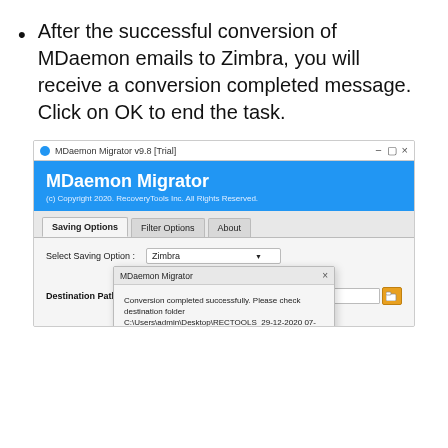After the successful conversion of MDaemon emails to Zimbra, you will receive a conversion completed message. Click on OK to end the task.
[Figure (screenshot): Screenshot of MDaemon Migrator v9.8 [Trial] application window showing Saving Options tab with Zimbra selected, Separate Tgz per user checkbox, Destination Path field, and a popup dialog saying 'Conversion completed successfully. Please check destination folder C:\Users\admin\Desktop\RECTOOLS_29-12-2020 07-51' with an OK button.]